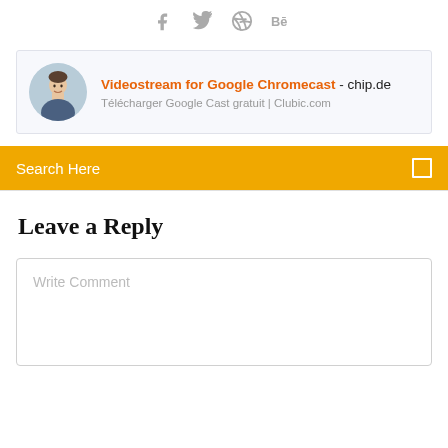[Figure (other): Social media icons: Facebook, Twitter, Dribbble, Behance]
[Figure (other): Ad card with circular avatar photo of a man, title 'Videostream for Google Chromecast - chip.de', subtitle 'Télécharger Google Cast gratuit | Clubic.com']
Search Here
Leave a Reply
Write Comment